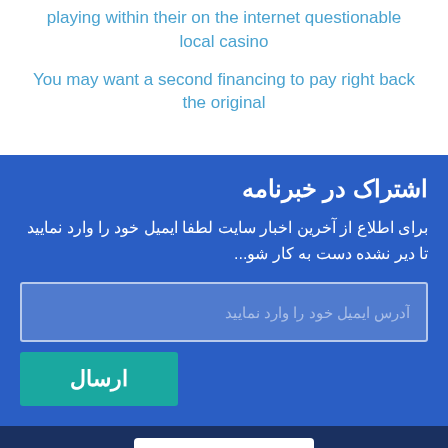playing within their on the internet questionable local casino
You may want a second financing to pay right back the original
اشتراک در خبرنامه
برای اطلاع از آخرین اخبار سایت لطفا ایمیل خود را وارد نمایید تا دیر نشده دست به کار شو...
[Figure (screenshot): Email input field with placeholder text in Persian]
ارسال
[Figure (logo): WEBOTEB logo with globe icon on dark blue footer background]